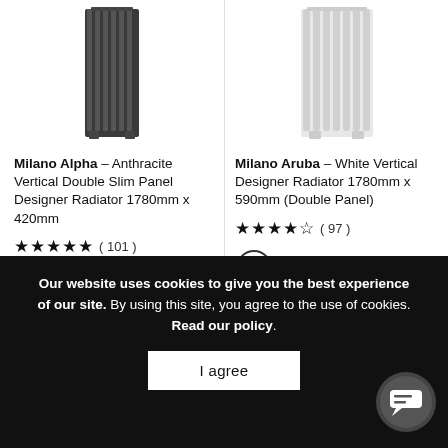[Figure (photo): Anthracite vertical double slim panel designer radiator, tall narrow dark grey unit with vertical fins]
Milano Alpha – Anthracite Vertical Double Slim Panel Designer Radiator 1780mm x 420mm
★★★★★ ( 101 )
[Figure (illustration): Water/fluid drop icon inside a circle]
[Figure (photo): White vertical designer radiator, tall unit with vertical rounded fins]
Milano Aruba – White Vertical Designer Radiator 1780mm x 590mm (Double Panel)
★★★★★ ( 97 )
[Figure (illustration): Water/fluid drop icon inside a circle]
Our website uses cookies to give you the best experience of our site. By using this site, you agree to the use of cookies. Read our policy.
I agree